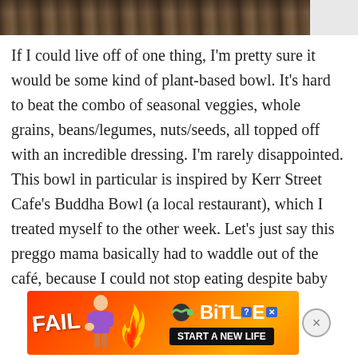[Figure (photo): Top portion of a photo showing a dark brown wooden surface or bark texture, with a light/white area at the top right corner.]
If I could live off of one thing, I'm pretty sure it would be some kind of plant-based bowl. It's hard to beat the combo of seasonal veggies, whole grains, beans/legumes, nuts/seeds, all topped off with an incredible dressing. I'm rarely disappointed. This bowl in particular is inspired by Kerr Street Cafe's Buddha Bowl (a local restaurant), which I treated myself to the other week. Let's just say this preggo mama basically had to waddle out of the café, because I could not stop eating despite baby nudging me that space was getting a bit tight in there. (Thankfully, I came armed with an empire waist... bowl
[Figure (screenshot): Advertisement banner for BitLife app. Features 'FAIL' text in white bold letters, an animated woman figure, flames, the BitLife logo with question mark and X badges, and a 'START A NEW LIFE' button on black background. A close (X) button appears to the right.]